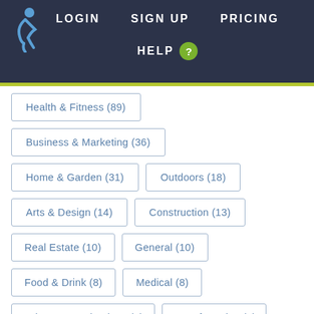LOGIN  SIGN UP  PRICING  HELP ?
Health & Fitness (89)
Business & Marketing (36)
Home & Garden (31)
Outdoors (18)
Arts & Design (14)
Construction (13)
Real Estate (10)
General (10)
Food & Drink (8)
Medical (8)
Science & Technology (7)
Manufacturing (4)
Love & Weddings (4)
Career (3)
Travel (3)